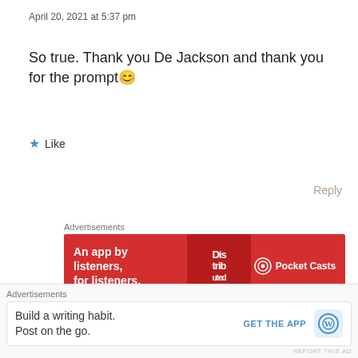April 20, 2021 at 5:37 pm
So true. Thank you De Jackson and thank you for the prompt 🙂
★ Like
Reply
Advertisements
[Figure (screenshot): Red advertisement banner for Pocket Casts app reading 'An app by listeners, for listeners.' with Pocket Casts logo on right]
REPORT THIS AD
Ali Grimshaw
Advertisements
[Figure (screenshot): White advertisement banner for WordPress app reading 'Build a writing habit. Post on the go.' with GET THE APP button and WordPress logo]
REPORT THIS AD